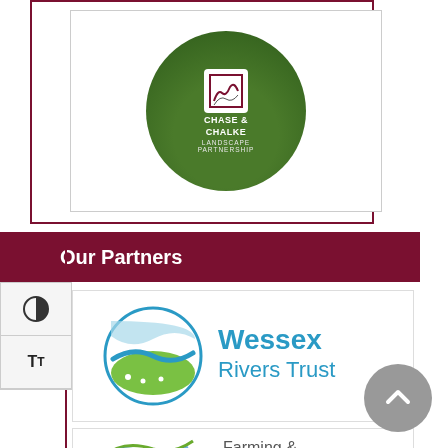[Figure (logo): Chase & Chalke Landscape Partnership circular logo on green background]
Our Partners
[Figure (logo): Wessex Rivers Trust logo with circular river/landscape icon and blue teal text]
[Figure (logo): Farming & ... logo partially visible at bottom]